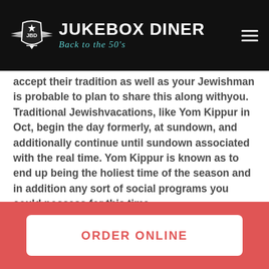Jukebox Diner — Back to the 50's
accept their tradition as well as your Jewishman is probable to plan to share this along withyou. Traditional Jewishvacations, like Yom Kippur in Oct, begin the day formerly, at sundown, and additionally continue until sundown associated with the real time. Yom Kippur is known as to end up being the holiest time of the season and in addition any sort of social programs you could possess for this time
ORDER ONLINE